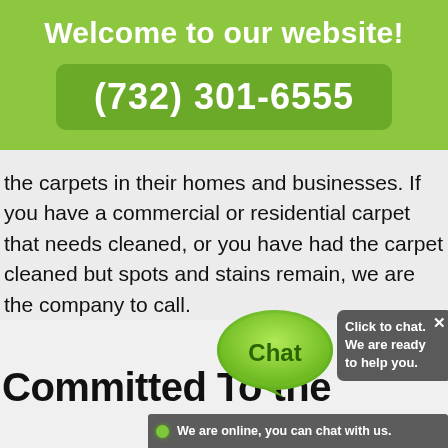Welcome to our website!
(732) 301-6555
the carpets in their homes and businesses. If you have a commercial or residential carpet that needs cleaned, or you have had the carpet cleaned but spots and stains remain, we are the company to call.
Committed To the
[Figure (screenshot): Chat bubble overlay with green speech bubble containing 'Chat' text, a box showing 'Click to chat. We are ready to help you.' with a close button, and an online bar at the bottom saying 'We are online, you can chat with us.']